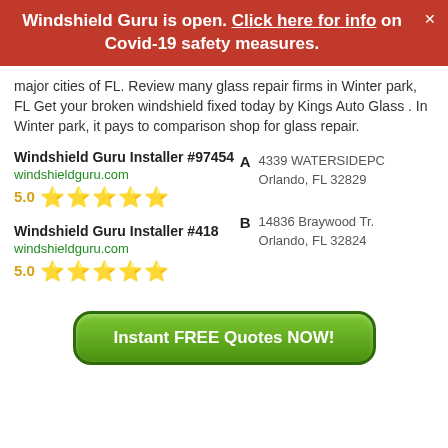Windshield Guru is open. Click here for info on Covid-19 safety measures.
major cities of FL. Review many glass repair firms in Winter park, FL Get your broken windshield fixed today by Kings Auto Glass . In Winter park, it pays to comparison shop for glass repair.
Windshield Guru Installer #97454
windshieldguru.com
5.0 ★★★★★
A
4339 WATERSIDEPC
Orlando, FL 32829
Windshield Guru Installer #418
windshieldguru.com
5.0 ★★★★★
B
14836 Braywood Tr.
Orlando, FL 32824
Instant FREE Quotes NOW!